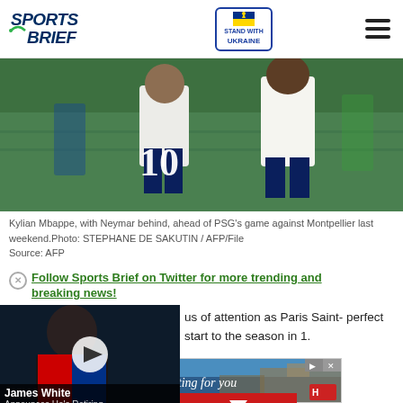Sports Brief | Stand With Ukraine
[Figure (photo): Soccer players on a pitch, one wearing jersey number 10 (Kylian Mbappe) with Neymar behind him, before PSG's game against Montpellier]
Kylian Mbappe, with Neymar behind, ahead of PSG's game against Montpellier last weekend.Photo: STEPHANE DE SAKUTIN / AFP/File
Source: AFP
Follow Sports Brief on Twitter for more trending and breaking news!
[Figure (screenshot): Video thumbnail showing James White with text 'James White Announces He's Retiring']
us of attention as Paris Saint- perfect start to the season in 1.
[Figure (photo): Advertisement banner: Your next hotel is waiting for you]